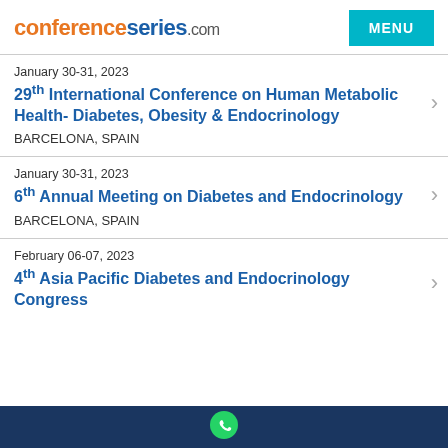conferenceseries.com
January 30-31, 2023
29th International Conference on Human Metabolic Health- Diabetes, Obesity & Endocrinology
BARCELONA, SPAIN
January 30-31, 2023
6th Annual Meeting on Diabetes and Endocrinology
BARCELONA, SPAIN
February 06-07, 2023
4th Asia Pacific Diabetes and Endocrinology Congress
[Figure (logo): WhatsApp icon in dark blue footer bar]